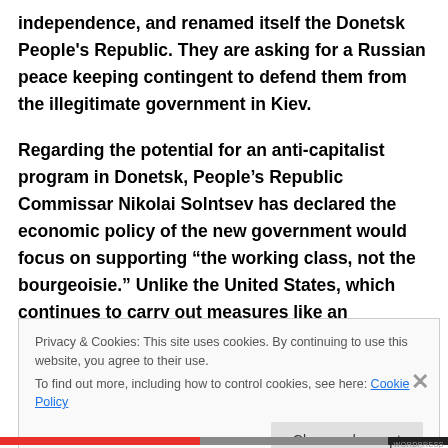independence, and renamed itself the Donetsk People's Republic. They are asking for a Russian peace keeping contingent to defend them from the illegitimate government in Kiev.
Regarding the potential for an anti-capitalist program in Donetsk, People's Republic Commissar Nikolai Solntsev has declared the economic policy of the new government would focus on supporting “the working class, not the bourgeoisie.” Unlike the United States, which continues to carry out measures like an
Privacy & Cookies: This site uses cookies. By continuing to use this website, you agree to their use.
To find out more, including how to control cookies, see here: Cookie Policy